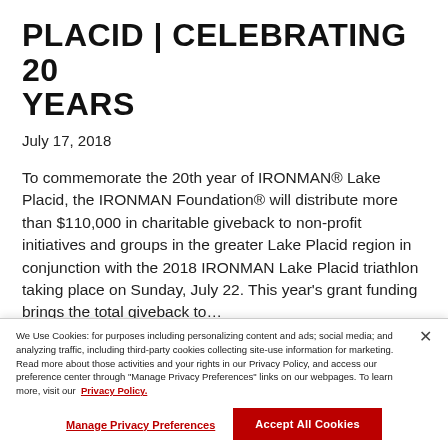PLACID | CELEBRATING 20 YEARS
July 17, 2018
To commemorate the 20th year of IRONMAN® Lake Placid, the IRONMAN Foundation® will distribute more than $110,000 in charitable giveback to non-profit initiatives and groups in the greater Lake Placid region in conjunction with the 2018 IRONMAN Lake Placid triathlon taking place on Sunday, July 22. This year's grant funding brings the total giveback to…
Read More
We Use Cookies: for purposes including personalizing content and ads; social media; and analyzing traffic, including third-party cookies collecting site-use information for marketing. Read more about those activities and your rights in our Privacy Policy, and access our preference center through "Manage Privacy Preferences" links on our webpages. To learn more, visit our Privacy Policy.
Manage Privacy Preferences
Accept All Cookies